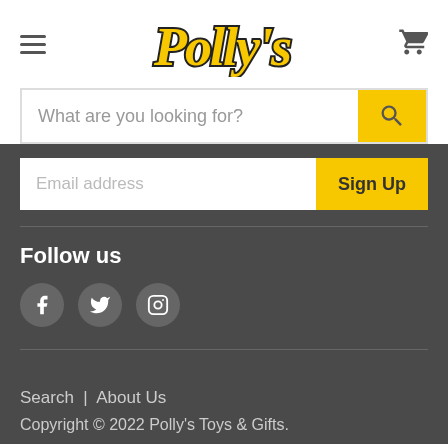[Figure (logo): Polly's logo in yellow script with dark outline]
What are you looking for?
Email address
Sign Up
Follow us
[Figure (infographic): Social media icons: Facebook, Twitter, Instagram]
Search | About Us
Copyright © 2022 Polly's Toys & Gifts.